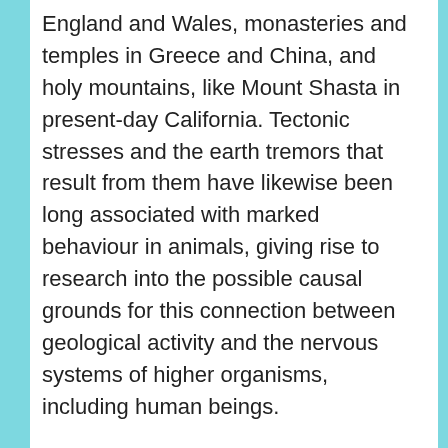England and Wales, monasteries and temples in Greece and China, and holy mountains, like Mount Shasta in present-day California. Tectonic stresses and the earth tremors that result from them have likewise been long associated with marked behaviour in animals, giving rise to research into the possible causal grounds for this connection between geological activity and the nervous systems of higher organisms, including human beings.
Michael Persinger and others have experimented extensively with the effects of EMR on the brain. Persinger, for example, has developed a chamber wherein a subject is seated and fitted with a specially-designed helmet that induces small changes in the electromagnetic